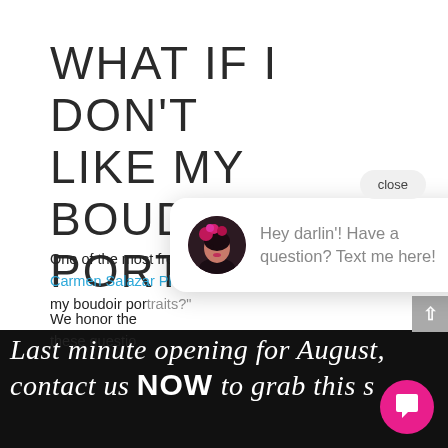WHAT IF I DON'T LIKE MY BOUDOIR PORTRAITS?
One of the most frequent concerns we hear at Carmen Salazar Photography is, "What if I don't like my boudoir portraits?"
We honor the... these questio...
[Figure (screenshot): Chat popup with avatar photo of woman with pink flower headpiece and text: Hey darlin'! Have a question? Text me here!]
close
Last minute opening for August, contact us NOW to grab this s
[Figure (logo): Pink circular chat/message icon button at bottom right]